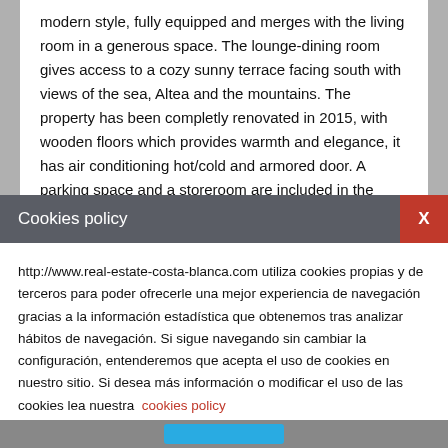modern style, fully equipped and merges with the living room in a generous space. The lounge-dining room gives access to a cozy sunny terrace facing south with views of the sea, Altea and the mountains. The property has been completly renovated in 2015, with wooden floors which provides warmth and elegance, it has air conditioning hot/cold and armored door. A parking space and a storeroom are included in the price and there is a large public parking close by. Ideal for families and for those who
Cookies policy
http://www.real-estate-costa-blanca.com utiliza cookies propias y de terceros para poder ofrecerle una mejor experiencia de navegación gracias a la información estadística que obtenemos tras analizar hábitos de navegación. Si sigue navegando sin cambiar la configuración, entenderemos que acepta el uso de cookies en nuestro sitio. Si desea más información o modificar el uso de las cookies lea nuestra  cookies policy